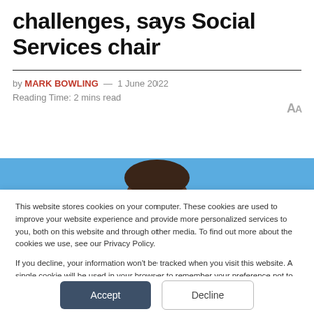challenges, says Social Services chair
by MARK BOWLING — 1 June 2022
Reading Time: 2 mins read
[Figure (photo): Partial head/hair visible against a blue background strip, likely a portrait of a person]
This website stores cookies on your computer. These cookies are used to improve your website experience and provide more personalized services to you, both on this website and through other media. To find out more about the cookies we use, see our Privacy Policy.

If you decline, your information won't be tracked when you visit this website. A single cookie will be used in your browser to remember your preference not to be tracked.